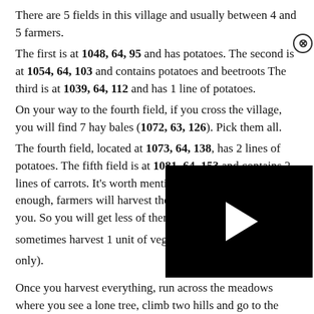There are 5 fields in this village and usually between 4 and 5 farmers.
The first is at 1048, 64, 95 and has potatoes. The second is at 1054, 64, 103 and contains potatoes and beetroots The third is at 1039, 64, 112 and has 1 line of potatoes.
On your way to the fourth field, if you cross the village, you will find 7 hay bales (1072, 63, 126). Pick them all.
The fourth field, located at 1073, 64, 138, has 2 lines of potatoes. The fifth field is at 1081, 64, 153 and contains 2 lines of carrots. It's worth mentioning that if you're not fast enough, farmers will harvest those vegetables instead of you. So you will get less of them. But, when th[ey do harvest, they] sometimes harvest 1 unit of veget[ables from the field only).
[Figure (screenshot): Video player overlay with black background and white play button triangle, with a close (X) button in a circle in the top-right corner.]
Once you harvest everything, run across the meadows where you see a lone tree, climb two hills and go to the second village which is located at 987, 70, 391. On your way to the village,